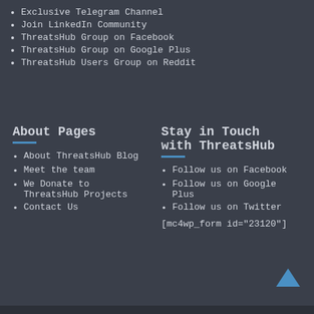Exclusive Telegram Channel
Join LinkedIn Community
ThreatsHub Group on Facebook
ThreatsHub Group on Google Plus
ThreatsHub Users Group on Reddit
About Pages
About ThreatsHub Blog
Meet the team
We Donate to ThreatsHub Projects
Contact Us
Stay in Touch with ThreatsHub
Follow us on Facebook
Follow us on Google Plus
Follow us on Twitter
[mc4wp_form id="23120"]